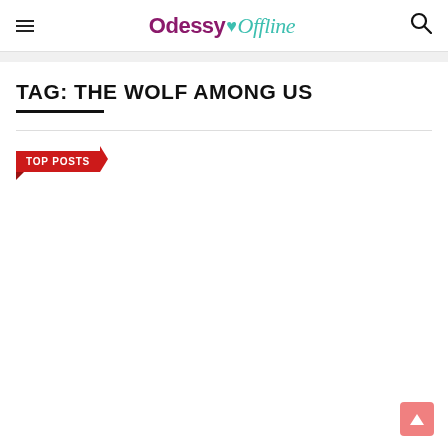Odessy Offline
TAG: THE WOLF AMONG US
TOP POSTS